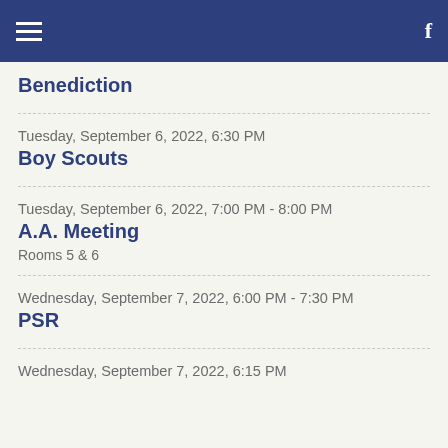Navigation bar with hamburger menu and Facebook icon
Benediction
Tuesday, September 6, 2022, 6:30 PM
Boy Scouts
Tuesday, September 6, 2022, 7:00 PM - 8:00 PM
A.A. Meeting
Rooms 5 & 6
Wednesday, September 7, 2022, 6:00 PM - 7:30 PM
PSR
Wednesday, September 7, 2022, 6:15 PM